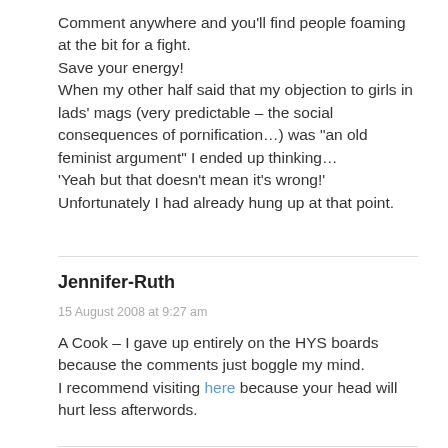Comment anywhere and you'll find people foaming at the bit for a fight.
Save your energy!
When my other half said that my objection to girls in lads' mags (very predictable – the social consequences of pornification…) was "an old feminist argument" I ended up thinking…
'Yeah but that doesn't mean it's wrong!'
Unfortunately I had already hung up at that point.
Jennifer-Ruth
15 August 2008 at 9:27 am
A Cook – I gave up entirely on the HYS boards because the comments just boggle my mind.
I recommend visiting here because your head will hurt less afterwords.